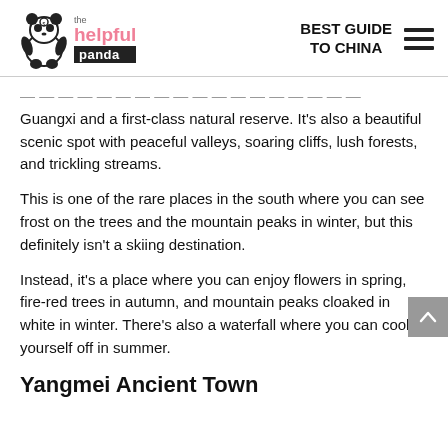the helpful panda — BEST GUIDE TO CHINA
...ing Mountain is the highest mountain in south Guangxi and a first-class natural reserve. It's also a beautiful scenic spot with peaceful valleys, soaring cliffs, lush forests, and trickling streams.
This is one of the rare places in the south where you can see frost on the trees and the mountain peaks in winter, but this definitely isn't a skiing destination.
Instead, it's a place where you can enjoy flowers in spring, fire-red trees in autumn, and mountain peaks cloaked in white in winter. There's also a waterfall where you can cool yourself off in summer.
Yangmei Ancient Town